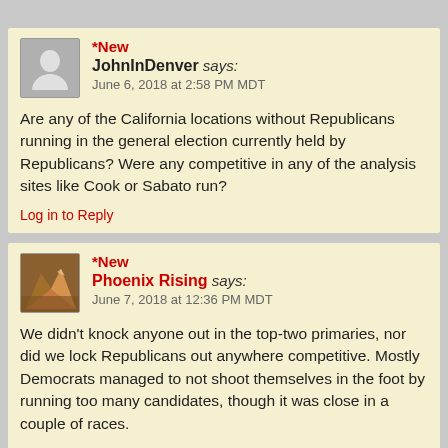*New
JohnInDenver says:
June 6, 2018 at 2:58 PM MDT
Are any of the California locations without Republicans running in the general election currently held by Republicans? Were any competitive in any of the analysis sites like Cook or Sabato run?
Log in to Reply
*New
Phoenix Rising says:
June 7, 2018 at 12:36 PM MDT
We didn't knock anyone out in the top-two primaries, nor did we lock Republicans out anywhere competitive. Mostly Democrats managed to not shoot themselves in the foot by running too many candidates, though it was close in a couple of races.